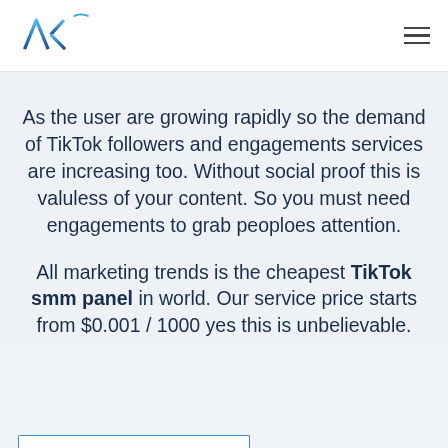[Figure (logo): AKT logo with stylized blue letters and swoosh]
As the user are growing rapidly so the demand of TikTok followers and engagements services are increasing too. Without social proof this is valuless of your content. So you must need engagements to grab peoploes attention.
All marketing trends is the cheapest TikTok smm panel in world. Our service price starts from $0.001 / 1000 yes this is unbelievable.